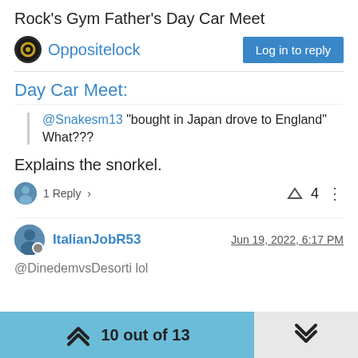Rock's Gym Father's Day Car Meet
Oppositelock | Log in to reply
Day Car Meet:
@Snakesm13 "bought in Japan drove to England" What???
Explains the snorkel.
1 Reply  > | 4
ItalianJobR53  Jun 19, 2022, 6:17 PM
@DinedemvsDesorti lol
10 out of 13